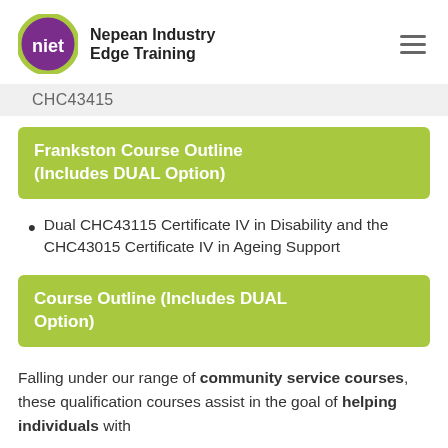[Figure (logo): Nepean Industry Edge Training logo — purple circle with 'niet' in white text and green border, next to org name text]
CHC43415
Frankston Course Outline (Includes DUAL Option)
Dual CHC43115 Certificate IV in Disability and the CHC43015 Certificate IV in Ageing Support
Course Outline (Includes DUAL Option)
Falling under our range of community service courses, these qualification courses assist in the goal of helping individuals with